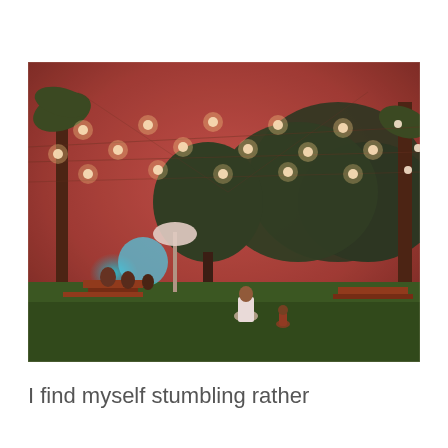[Figure (photo): An outdoor nighttime scene with string lights hanging overhead. People are sitting on a green lawn and at picnic tables. There are trees, a glowing teal light source in the background, and a warm reddish ambient glow from the string lights. A woman in a white dress and a small child are visible in the foreground.]
I find myself stumbling rather